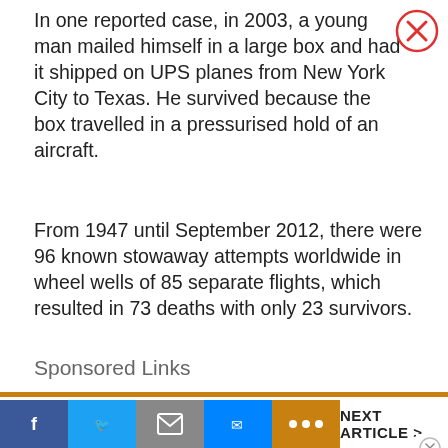In one reported case, in 2003, a young man mailed himself in a large box and had it shipped on UPS planes from New York City to Texas. He survived because the box travelled in a pressurised hold of an aircraft.
[Figure (other): Red circle with X close button in top right corner]
From 1947 until September 2012, there were 96 known stowaway attempts worldwide in wheel wells of 85 separate flights, which resulted in 73 deaths with only 23 survivors.
Sponsored Links
| Classifieds | Online Payments |
| --- | --- |
| Electronics | Airtime & Bill |
NEXT ARTICLE >